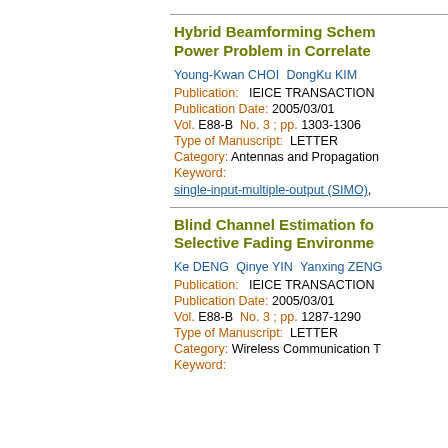Hybrid Beamforming Scheme and Transmit Power Problem in Correlated...
Young-Kwan CHOI  DongKu KIM
Publication:   IEICE TRANSACTION...
Publication Date: 2005/03/01
Vol. E88-B  No. 3 ; pp. 1303-1306
Type of Manuscript:  LETTER
Category:  Antennas and Propagation
Keyword:
single-input-multiple-output (SIMO),
Blind Channel Estimation for Selective Fading Environment...
Ke DENG  Qinye YIN  Yanxing ZENG...
Publication:   IEICE TRANSACTION...
Publication Date: 2005/03/01
Vol. E88-B  No. 3 ; pp. 1287-1290
Type of Manuscript:  LETTER
Category:  Wireless Communication T...
Keyword: